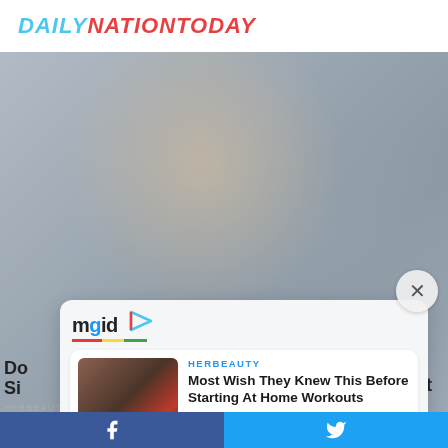DAILYNATIONTODAY
[Figure (photo): Background photo collage showing a woman at what appears to be a Fast and Furious event, with a crowd behind her]
[Figure (logo): mgid logo with colored play button icon and tricolor underline]
[Figure (photo): Thumbnail of person doing yoga/stretching exercise on floor in red and black outfit]
HERBEAUTY
Most Wish They Knew This Before Starting At Home Workouts
[Figure (photo): Thumbnail of a smiling Asian woman in a blue top standing outdoors]
HERBEAUTY
She's One Of The Richest Women In The World!
Facebook | Twitter social share bar